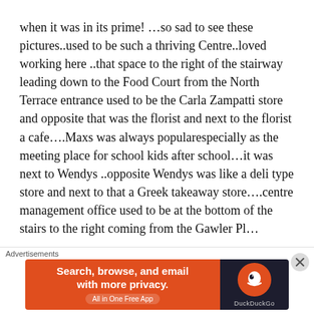when it was in its prime! …so sad to see these pictures..used to be such a thriving Centre..loved working here ..that space to the right of the stairway leading down to the Food Court from the North Terrace entrance used to be the Carla Zampatti store and opposite that was the florist and next to the florist a cafe….Maxs was always popularespecially as the meeting place for school kids after school…it was next to Wendys ..opposite Wendys was like a deli type store and next to that a Greek takeaway store….centre management office used to be at the bottom of the stairs to the right coming from the Gawler Pl...
Advertisements
[Figure (other): DuckDuckGo advertisement banner with orange left panel reading 'Search, browse, and email with more privacy. All in One Free App' and dark right panel with DuckDuckGo logo and name.]